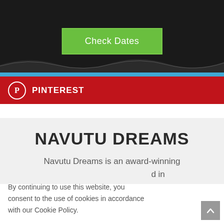[Figure (screenshot): Black top banner of a travel website]
Check Dates
PINTEREST
NAVUTU DREAMS
Navutu Dreams is an award-winning …d in
By continuing to use this website, you consent to the use of cookies in accordance with our Cookie Policy.
ACCEPT